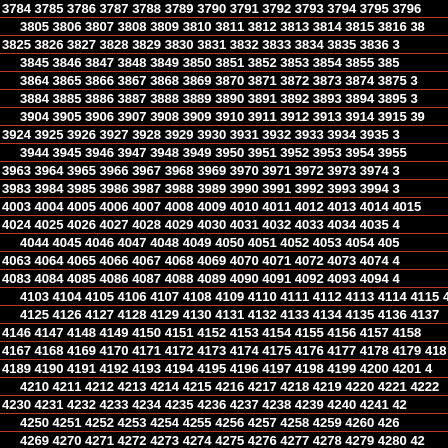Sequential numbers from 3784 to 4420, displayed in rows on a black background with red separator lines between alternating rows.